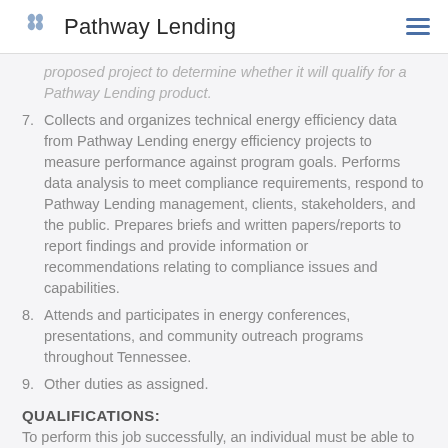Pathway Lending
proposed project to determine whether it will qualify for a Pathway Lending product.
7. Collects and organizes technical energy efficiency data from Pathway Lending energy efficiency projects to measure performance against program goals. Performs data analysis to meet compliance requirements, respond to Pathway Lending management, clients, stakeholders, and the public. Prepares briefs and written papers/reports to report findings and provide information or recommendations relating to compliance issues and capabilities.
8. Attends and participates in energy conferences, presentations, and community outreach programs throughout Tennessee.
9. Other duties as assigned.
QUALIFICATIONS:
To perform this job successfully, an individual must be able to